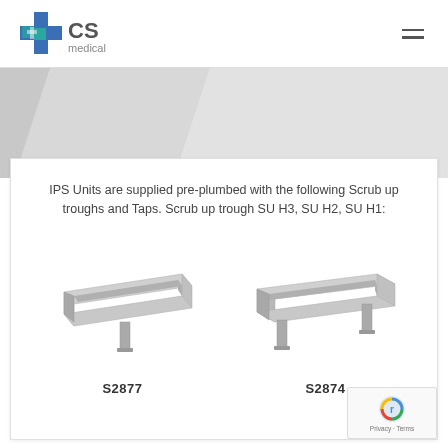CS Medical logo and navigation
IPS Units are supplied pre-plumbed with the following Scrub up troughs and Taps. Scrub up trough SU H3, SU H2, SU H1:
[Figure (photo): Stainless steel scrub up trough S2877 - a long rectangular basin with sloped sides and a central drain leg]
S2877
[Figure (photo): Stainless steel scrub up trough S2874 - a long rectangular basin with sloped sides and two drain legs]
S2874